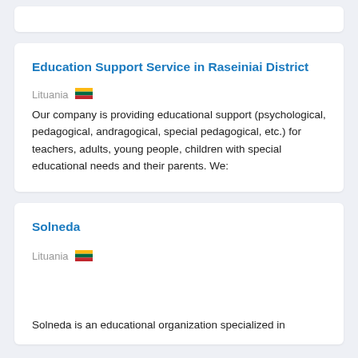Education Support Service in Raseiniai District
Lituania
Our company is providing educational support (psychological, pedagogical, andragogical, special pedagogical, etc.) for teachers, adults, young people, children with special educational needs and their parents. We:
Solneda
Lituania
Solneda is an educational organization specialized in